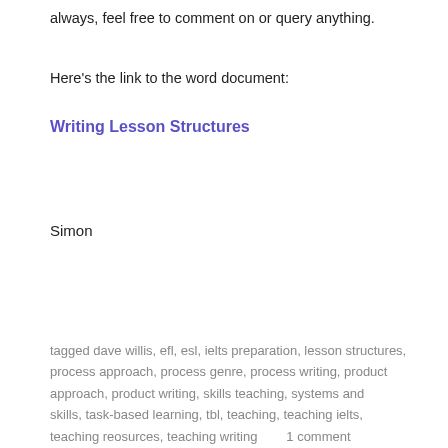always, feel free to comment on or query anything.
Here's the link to the word document:
Writing Lesson Structures
Simon
tagged dave willis, efl, esl, ielts preparation, lesson structures, process approach, process genre, process writing, product approach, product writing, skills teaching, systems and skills, task-based learning, tbl, teaching, teaching ielts, teaching reosurces, teaching writing       1 comment